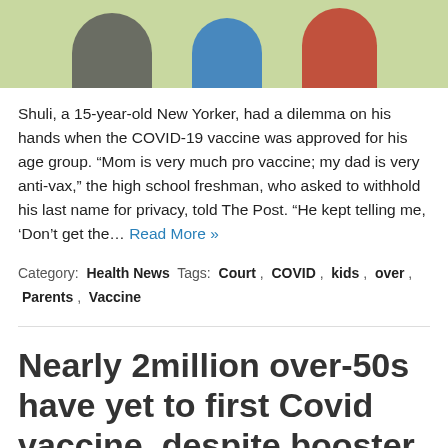[Figure (photo): Photo strip showing three people (teenagers/young people) against a light green background, partially cropped at the top of the page]
Shuli, a 15-year-old New Yorker, had a dilemma on his hands when the COVID-19 vaccine was approved for his age group. “Mom is very much pro vaccine; my dad is very anti-vax,” the high school freshman, who asked to withhold his last name for privacy, told The Post. “He kept telling me, ‘Don’t get the… Read More »
Category: Health News  Tags: Court , COVID , kids , over , Parents , Vaccine
Nearly 2million over-50s have yet to first Covid vaccine, despite booster drive kicking off already